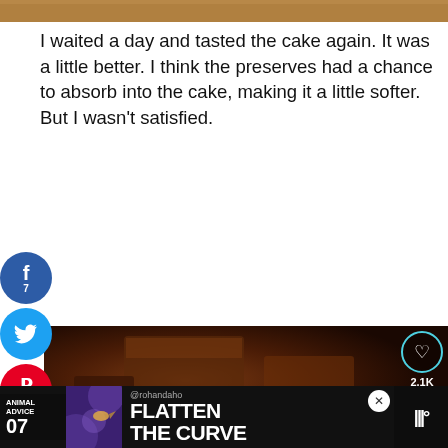[Figure (photo): Top cropped image of a food item, brown tones]
I waited a day and tasted the cake again. It was a little better. I think the preserves had a chance to absorb into the cake, making it a little softer. But I wasn't satisfied.
[Figure (photo): Photo of chocolate cake pieces on dark background with social sharing icons on left (Facebook 7, Twitter, Pinterest 1893, WhatsApp, Email) and like/share buttons on right (2.1K). What's Next overlay with Dark Chocolate... text and thumbnail.]
[Figure (infographic): Advertisement banner: Animal Advice 07, Flatten the Curve, @rohandaho handle, close button, and right side icon]